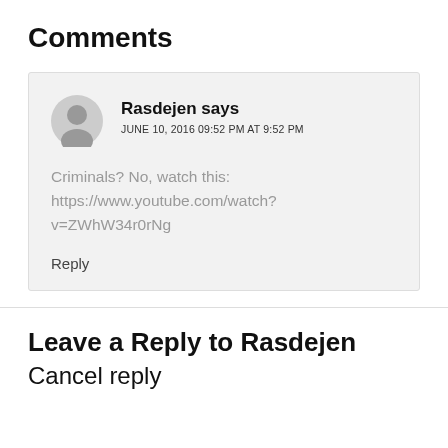Comments
Rasdejen says
JUNE 10, 2016 09:52 PM AT 9:52 PM

Criminals? No, watch this:
https://www.youtube.com/watch?v=ZWhW34r0rNg

Reply
Leave a Reply to Rasdejen Cancel reply